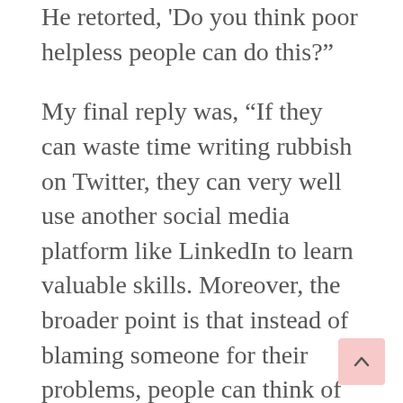He retorted, 'Do you think poor helpless people can do this?'
My final reply was, “If they can waste time writing rubbish on Twitter, they can very well use another social media platform like LinkedIn to learn valuable skills. Moreover, the broader point is that instead of blaming someone for their problems, people can think of resolving the same.”
The essence of the above conversation is that at the end of the day, your life is wholly your responsibility. You may find a thousand reasons for the mess you are in. However, as Mark Twain once said, ‘Don’t go around saying that the world owes you a living; it owes you nothing.’
The dichotomy and Dharma
Amish Tripathi and Bhavana Roy present a dichotomy